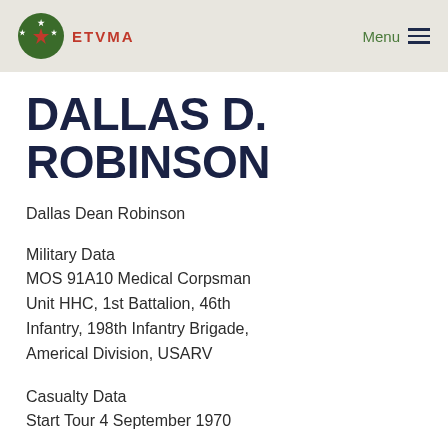ETVMA  Menu
DALLAS D. ROBINSON
Dallas Dean Robinson
Military Data
MOS 91A10 Medical Corpsman
Unit HHC, 1st Battalion, 46th Infantry, 198th Infantry Brigade, Americal Division, USARV
Casualty Data
Start Tour 4 September 1970